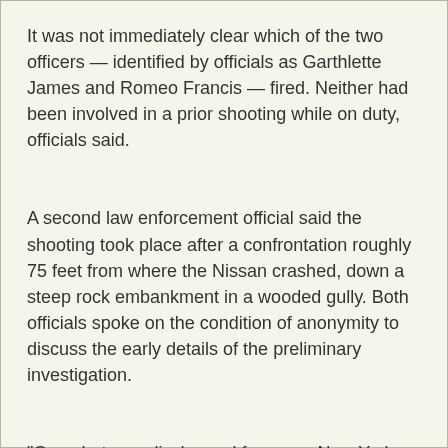It was not immediately clear which of the two officers — identified by officials as Garthlette James and Romeo Francis — fired. Neither had been involved in a prior shooting while on duty, officials said.
A second law enforcement official said the shooting took place after a confrontation roughly 75 feet from where the Nissan crashed, down a steep rock embankment in a wooded gully. Both officials spoke on the condition of anonymity to discuss the early details of the preliminary investigation.
"One shot was discharged from one New York City police officer's weapon," George Longworth, the commissioner of the county's public safety agency, said at a news conference.